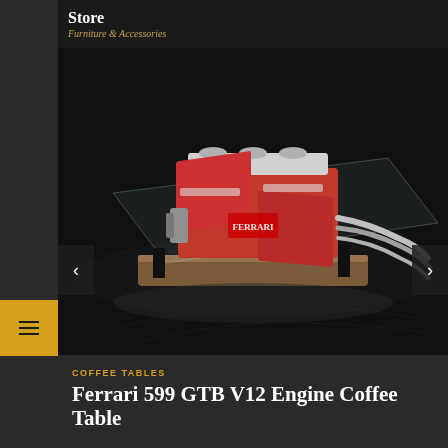Store — Furniture & Accessories
[Figure (photo): Ferrari 599 GTB V12 engine mounted on a wooden base with a glass table top, displayed against a dark background. Navigation arrows visible on left and right sides.]
COFFEE TABLES
Ferrari 599 GTB V12 Engine Coffee Table